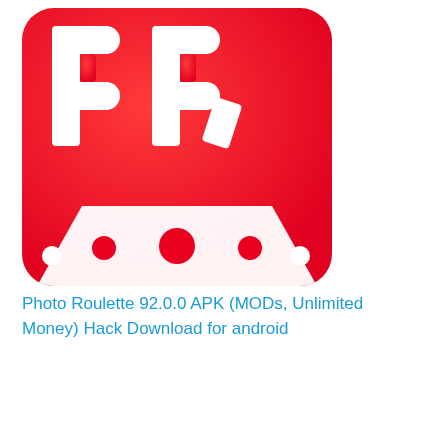[Figure (logo): Photo Roulette app icon — large white letters PR on a red gradient background, with a stylized face/dice graphic below featuring white dots and a red circle on a white shape, all on a red background. Rounded square icon.]
Photo Roulette 92.0.0 APK (MODs, Unlimited Money) Hack Download for android